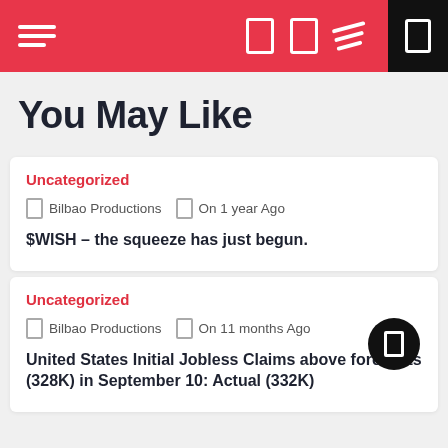Navigation bar with menu icon and controls
You May Like
Uncategorized
Bilbao Productions  On 1 year Ago
$WISH – the squeeze has just begun.
Uncategorized
Bilbao Productions  On 11 months Ago
United States Initial Jobless Claims above forecasts (328K) in September 10: Actual (332K)